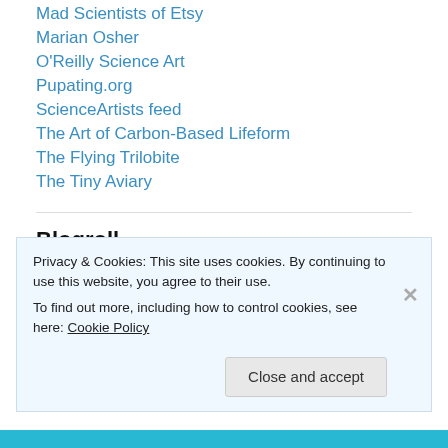Mad Scientists of Etsy
Marian Osher
O'Reilly Science Art
Pupating.org
ScienceArtists feed
The Art of Carbon-Based Lifeform
The Flying Trilobite
The Tiny Aviary
Blogroll
WordPress Planet
WordPress.com News
Privacy & Cookies: This site uses cookies. By continuing to use this website, you agree to their use.
To find out more, including how to control cookies, see here: Cookie Policy
Close and accept